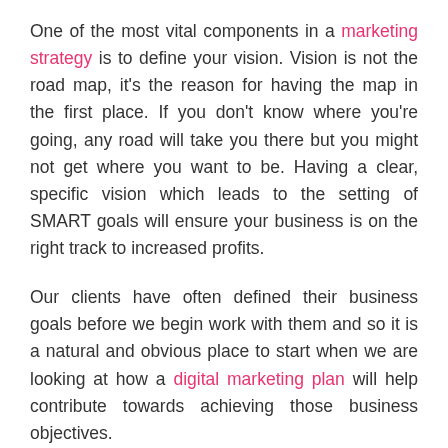One of the most vital components in a marketing strategy is to define your vision. Vision is not the road map, it's the reason for having the map in the first place. If you don't know where you're going, any road will take you there but you might not get where you want to be. Having a clear, specific vision which leads to the setting of SMART goals will ensure your business is on the right track to increased profits.
Our clients have often defined their business goals before we begin work with them and so it is a natural and obvious place to start when we are looking at how a digital marketing plan will help contribute towards achieving those business objectives.
It's also the starting point of working out how to measure digital marketing activity. Metrics need to be about moving closer to meaningful goals. Vanity metrics however, such as number of social media